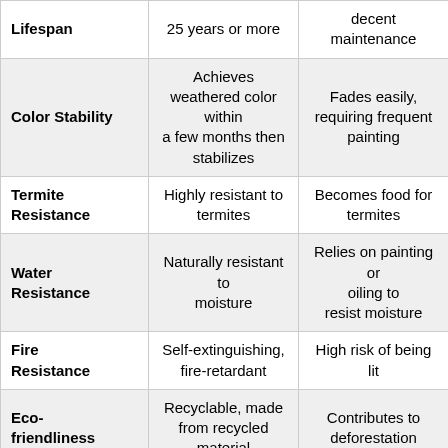|  |  |  |
| --- | --- | --- |
| Lifespan | 25 years or more | decent maintenance |
| Color Stability | Achieves weathered color within a few months then stabilizes | Fades easily, requiring frequent painting |
| Termite Resistance | Highly resistant to termites | Becomes food for termites |
| Water Resistance | Naturally resistant to moisture | Relies on painting or oiling to resist moisture |
| Fire Resistance | Self-extinguishing, fire-retardant | High risk of being lit |
| Eco-friendliness | Recyclable, made from recycled material | Contributes to deforestation |
| Safety | Non-toxic, 100% safe | Carries harmful paint |